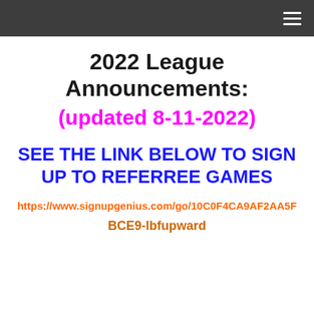2022 League Announcements: (updated 8-11-2022)
SEE THE LINK BELOW TO SIGN UP TO REFERREE GAMES
https://www.signupgenius.com/go/10C0F4CA9AF2AA5F
BCE9-lbfupward